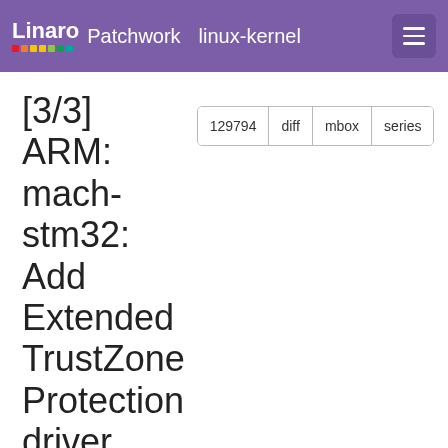Linaro Patchwork linux-kernel
[3/3] ARM: mach-stm32: Add Extended TrustZone Protection driver
| Field | Value |
| --- | --- |
| Message ID | 20180227140926.22996-4-benjamin.gaignard@st.com |
| State | New |
| Headers | show |
| Series | [1/3] driver core: check notifier_call_chain return value | expand |
Commit Message